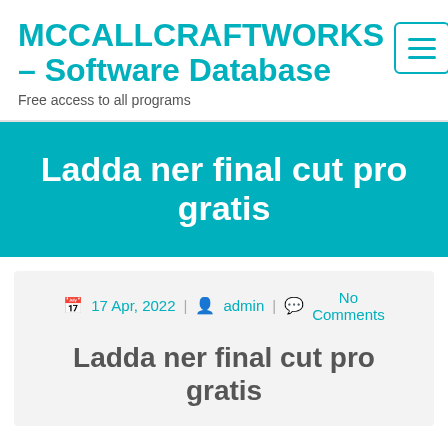MCCALLCRAFTWORKS – Software Database
Free access to all programs
Ladda ner final cut pro gratis
17 Apr, 2022 | admin | No Comments
Ladda ner final cut pro gratis